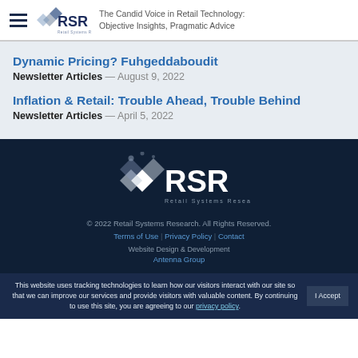RSR — The Candid Voice in Retail Technology: Objective Insights, Pragmatic Advice
Dynamic Pricing? Fuhgeddaboudit
Newsletter Articles — August 9, 2022
Inflation & Retail: Trouble Ahead, Trouble Behind
Newsletter Articles — April 5, 2022
[Figure (logo): RSR Retail Systems Research logo in white on dark navy background]
© 2022 Retail Systems Research. All Rights Reserved.
Terms of Use | Privacy Policy | Contact
Website Design & Development
Antenna Group
This website uses tracking technologies to learn how our visitors interact with our site so that we can improve our services and provide visitors with valuable content. By continuing to use this site, you are agreeing to our privacy policy.